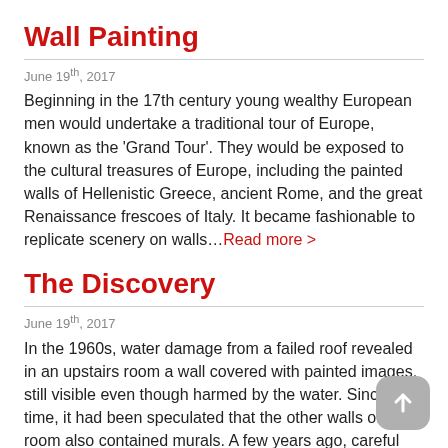Wall Painting
June 19th, 2017
Beginning in the 17th century young wealthy European men would undertake a traditional tour of Europe, known as the 'Grand Tour'. They would be exposed to the cultural treasures of Europe, including the painted walls of Hellenistic Greece, ancient Rome, and the great Renaissance frescoes of Italy. It became fashionable to replicate scenery on walls…Read more >
The Discovery
June 19th, 2017
In the 1960s, water damage from a failed roof revealed in an upstairs room a wall covered with painted images, still visible even though harmed by the water. Since that time, it had been speculated that the other walls of the room also contained murals. A few years ago, careful